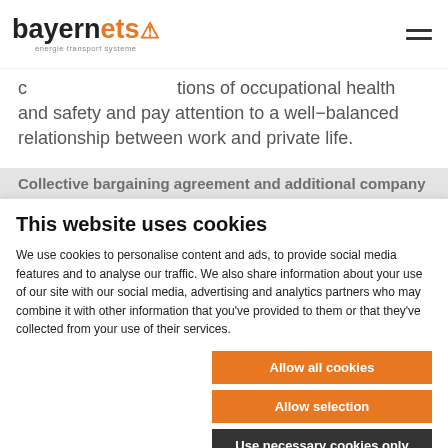bayernets energie transport systeme
tions of occupational health and safety and pay attention to a well-balanced relationship between work and private life.
Collective bargaining agreement and additional company
This website uses cookies
We use cookies to personalise content and ads, to provide social media features and to analyse our traffic. We also share information about your use of our site with our social media, advertising and analytics partners who may combine it with other information that you've provided to them or that they've collected from your use of their services.
Allow all cookies
Allow selection
Use necessary cookies only
Necessary Preferences Statistics Marketing Show details